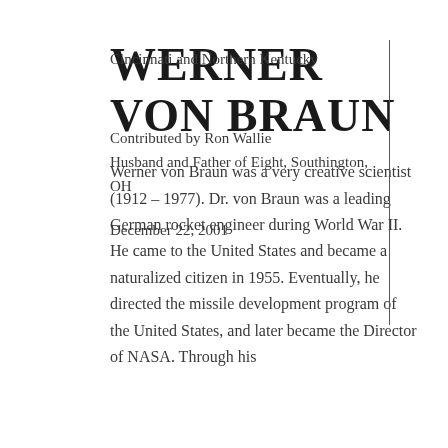Cincinnati and Northern Kentucky
Contributed by Ron Wallie
Husband and Father of Eight, Southington, OH
December 22, 2001
WERNER VON BRAUN
Werner von Braun was a very creative scientist (1912 – 1977). Dr. von Braun was a leading German rocket engineer during World War II. He came to the United States and became a naturalized citizen in 1955. Eventually, he directed the missile development program of the United States, and later became the Director of NASA. Through his